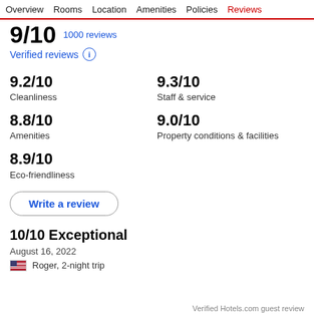Overview  Rooms  Location  Amenities  Policies  Reviews
Verified reviews ⓘ
9.2/10
Cleanliness
9.3/10
Staff & service
8.8/10
Amenities
9.0/10
Property conditions & facilities
8.9/10
Eco-friendliness
Write a review
10/10 Exceptional
August 16, 2022
Roger, 2-night trip
Verified Hotels.com guest review